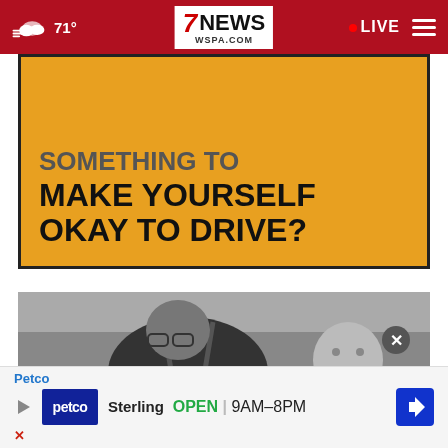7NEWS WSPA.COM — 71° — LIVE
[Figure (infographic): Yellow advertisement banner with bold black text reading 'SOMETHING TO MAKE YOURSELF OKAY TO DRIVE?' — top portion cut off showing only 'SOMETHING TO']
[Figure (photo): Black and white photo of a man bending over, wearing glasses and a dark t-shirt with suspenders, holding a baby who is looking at the camera]
[Figure (infographic): Petco advertisement banner at the bottom showing Petco logo, Sterling location, OPEN 9AM-8PM with navigation icon]